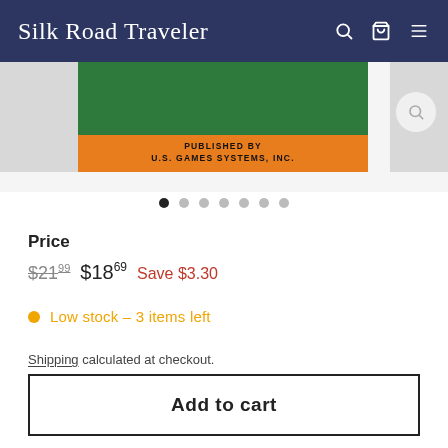Silk Road Traveler
[Figure (photo): Product image showing a card or book with green background and an orange banner reading 'PUBLISHED BY U.S. GAMES SYSTEMS, INC.']
Price
$21.99  $18.69  Save $3.30
Low stock – 3 items left
Shipping calculated at checkout.
Add to cart